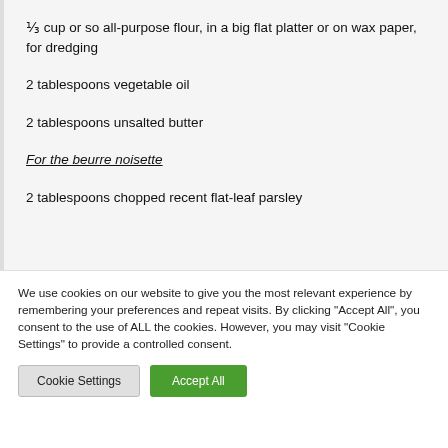⅓ cup or so all-purpose flour, in a big flat platter or on wax paper, for dredging
2 tablespoons vegetable oil
2 tablespoons unsalted butter
For the beurre noisette
2 tablespoons chopped recent flat-leaf parsley
We use cookies on our website to give you the most relevant experience by remembering your preferences and repeat visits. By clicking "Accept All", you consent to the use of ALL the cookies. However, you may visit "Cookie Settings" to provide a controlled consent.